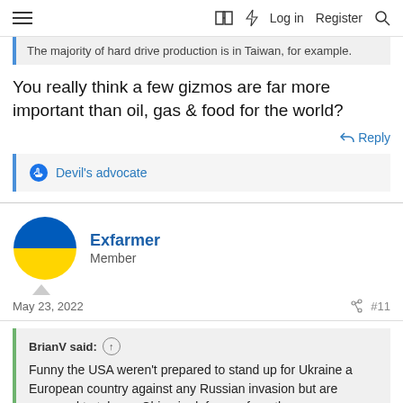Log in  Register
The majority of hard drive production is in Taiwan, for example.
You really think a few gizmos are far more important than oil, gas & food for the world?
Reply
Devil's advocate
Exfarmer
Member
May 23, 2022
#11
BrianV said:
Funny the USA weren't prepared to stand up for Ukraine a European country against any Russian invasion but are prepared to take on China in defence of another non European country the other side of the world, wonder what the difference could possibly be?